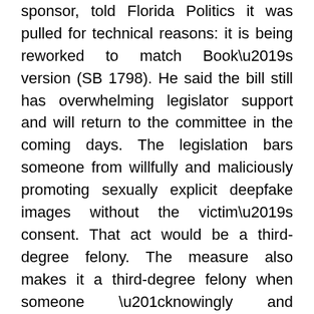sponsor, told Florida Politics it was pulled for technical reasons: it is being reworked to match Book's version (SB 1798). He said the bill still has overwhelming legislator support and will return to the committee in the coming days. The legislation bars someone from willfully and maliciously promoting sexually explicit deepfake images without the victim's consent. That act would be a third-degree felony. The measure also makes it a third-degree felony when someone “knowingly and unlawfully obtains a sexually explicit image of an identifiable person with the intent to promote such image.”
“Security deposit alternative bill teed up for House vote” via Drew Wilson of Florida Politics